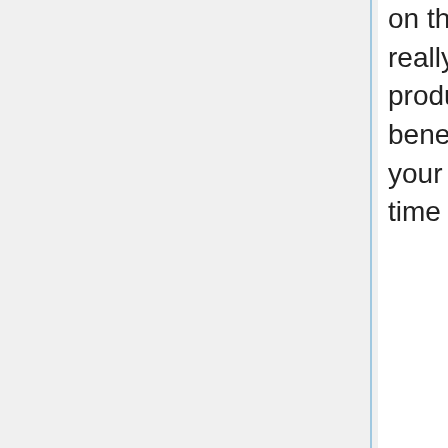on their advertising divisions. Occasionally this really is freelance operate. At times organizations produce an genuine position that could feature benefits. You can start out independent, construct your status and after that search for a complete time position if you wish.
To produce real cash on-line, look at introducing a free lance composing job. There are many respected websites that supply good pay money for post and article writing providers. By examining in to these possibilities and looking at responses of every company, it truly is possible to make earnings with out actually leaving your own home.
Generating income online is one thing